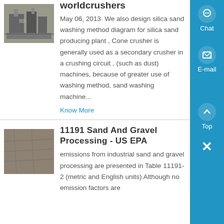[Figure (photo): Photo of industrial crusher machinery outdoors]
worldcrushers
May 06, 2013· We also design silica sand washing method diagram for silica sand producing plant , Cone crusher is generally used as a secondary crusher in a crushing circuit , (such as dust) machines, because of greater use of washing method, sand washing machine...
Know More
[Figure (photo): Photo of sand and gravel surface texture]
11191 Sand And Gravel Processing - US EPA
emissions from industrial sand and gravel processing are presented in Table 11191-2 (metric and English units) Although no emission factors are